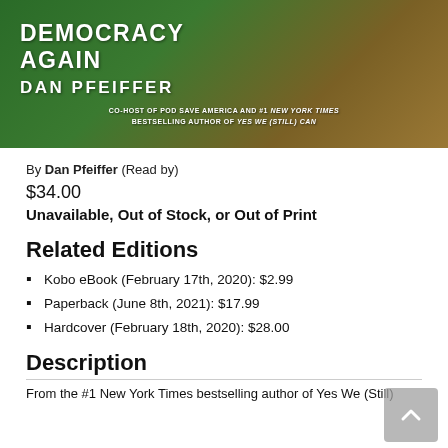[Figure (illustration): Book cover for a book by Dan Pfeiffer. Green and brown background with bold white text reading 'DEMOCRACY AGAIN' and 'DAN PFEIFFER'. Subtitle text: 'CO-HOST OF POD SAVE AMERICA AND #1 NEW YORK TIMES BESTSELLING AUTHOR OF YES WE (STILL) CAN']
By Dan Pfeiffer (Read by)
$34.00
Unavailable, Out of Stock, or Out of Print
Related Editions
Kobo eBook (February 17th, 2020): $2.99
Paperback (June 8th, 2021): $17.99
Hardcover (February 18th, 2020): $28.00
Description
From the #1 New York Times bestselling author of Yes We (Still)